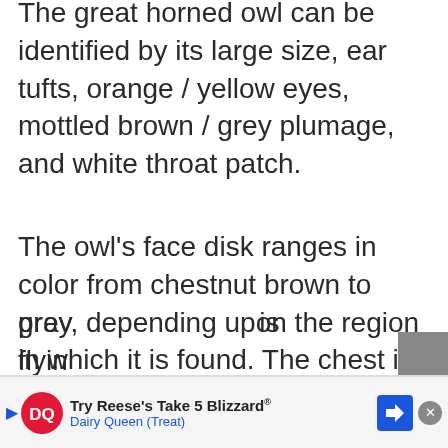The great horned owl can be identified by its large size, ear tufts, orange / yellow eyes, mottled brown / grey plumage, and white throat patch.
The owl's face disk ranges in color from chestnut brown to gray, depending upon the region in which it is found. The chest is pale and barred. The wings are relatively short, but broad.
The wings of the great horned owl are specially adapted for silent flight. The front edge of the owl's wing feathers is serrated, and the top of the wing feathers have a velvety texture. Both of these features help prev[ent noise while] flying[. This]
[Figure (other): Dairy Queen advertisement banner: Try Reese's Take 5 Blizzard. Dairy Queen (Treat) with DQ logo and navigation arrow.]